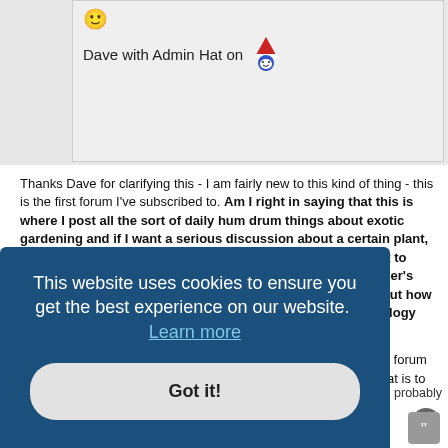[Figure (illustration): Smiley face emoji icon (yellow face)]
Dave with Admin Hat on
[Figure (illustration): Gnome with red hat icon]
Thanks Dave for clarifying this - I am fairly new to this kind of thing - this is the first forum I've subscribed to. Am I right in saying that this is where I post all the sort of daily hum drum things about exotic gardening and if I want a serious discussion about a certain plant, I go the exotics reference and discussion?.........and if I want to discuss what this winter has been like in my garden and other's gardens, I post it here but if I want a serious discussion about how weather affects us, then I post it on the weather and climatology forum?
I think we are possibly all guilty of blurring the lines between one forum and another so I, for one, will read up in the help section just what is to be
probably
This website uses cookies to ensure you get the best experience on our website. Learn more
Got it!